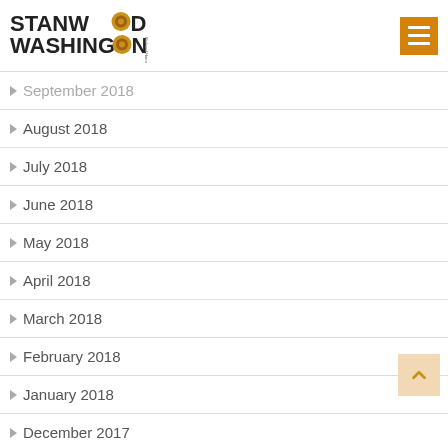Stanwood Washington
September 2018
August 2018
July 2018
June 2018
May 2018
April 2018
March 2018
February 2018
January 2018
December 2017
November 2017
October 2017